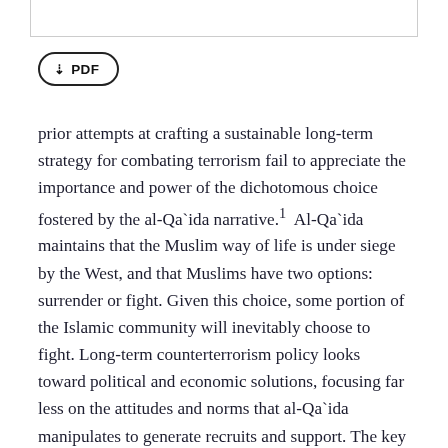[Figure (other): Top bar / header decorative element]
[Figure (other): PDF download button with download icon and label PDF]
prior attempts at crafting a sustainable long-term strategy for combating terrorism fail to appreciate the importance and power of the dichotomous choice fostered by the al-Qa`ida narrative.¹ Al-Qa`ida maintains that the Muslim way of life is under siege by the West, and that Muslims have two options: surrender or fight. Given this choice, some portion of the Islamic community will inevitably choose to fight. Long-term counterterrorism policy looks toward political and economic solutions, focusing far less on the attitudes and norms that al-Qa`ida manipulates to generate recruits and support. The key to draining this support, and improving the long-term strategic outlook, is by disrupting this choice and presenting a “third way.”